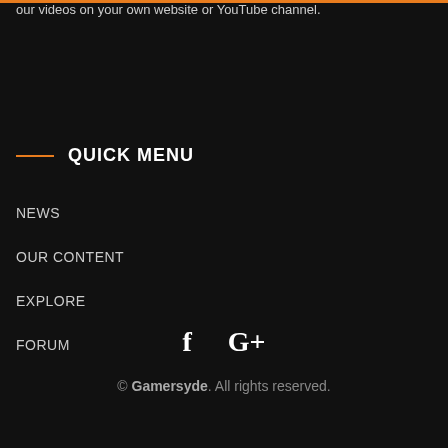our videos on your own website or YouTube channel.
QUICK MENU
NEWS
OUR CONTENT
EXPLORE
FORUM
[Figure (other): Social media icons: Facebook (f) and Google+ (G+)]
© Gamersyde. All rights reserved.